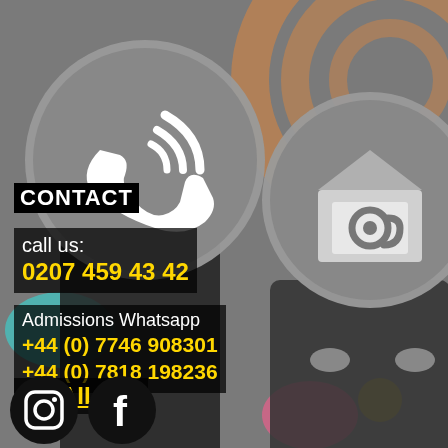[Figure (illustration): Contact page background with two people holding large circular icons: a phone/viber icon (left) and an email/envelope icon (right), set against a colorful abstract swirl background in grey, orange, teal, and pink tones.]
CONTACT
call us:
0207 459 43 42
Admissions Whatsapp
+44 (0) 7746 908301
+44 (0) 7818 198236
EMAIL US
[Figure (logo): Instagram icon circle at bottom left]
[Figure (logo): Facebook icon circle at bottom left]